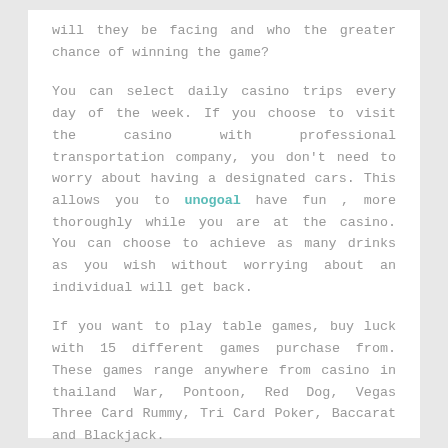will they be facing and who the greater chance of winning the game?
You can select daily casino trips every day of the week. If you choose to visit the casino with professional transportation company, you don't need to worry about having a designated cars. This allows you to unogoal have fun , more thoroughly while you are at the casino. You can choose to achieve as many drinks as you wish without worrying about an individual will get back.
If you want to play table games, buy luck with 15 different games purchase from. These games range anywhere from casino in thailand War, Pontoon, Red Dog, Vegas Three Card Rummy, Tri Card Poker, Baccarat and Blackjack.